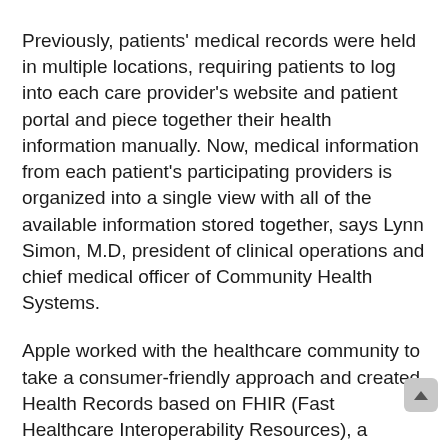Previously, patients' medical records were held in multiple locations, requiring patients to log into each care provider's website and patient portal and piece together their health information manually. Now, medical information from each patient's participating providers is organized into a single view with all of the available information stored together, says Lynn Simon, M.D, president of clinical operations and chief medical officer of Community Health Systems.
Apple worked with the healthcare community to take a consumer-friendly approach and created Health Records based on FHIR (Fast Healthcare Interoperability Resources), a standard for transferring electronic medical records. Health Records data is encrypted and protected with the user's iPhone passcode, Touch ID or Face ID, he adds. For more info on Health Records, visit: https://www.apple.com/healthcare/health-records/